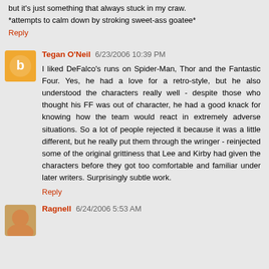but it's just something that always stuck in my craw. *attempts to calm down by stroking sweet-ass goatee*
Reply
Tegan O'Neil 6/23/2006 10:39 PM
I liked DeFalco's runs on Spider-Man, Thor and the Fantastic Four. Yes, he had a love for a retro-style, but he also understood the characters really well - despite those who thought his FF was out of character, he had a good knack for knowing how the team would react in extremely adverse situations. So a lot of people rejected it because it was a little different, but he really put them through the wringer - reinjected some of the original grittiness that Lee and Kirby had given the characters before they got too comfortable and familiar under later writers. Surprisingly subtle work.
Reply
Ragnell 6/24/2006 5:53 AM